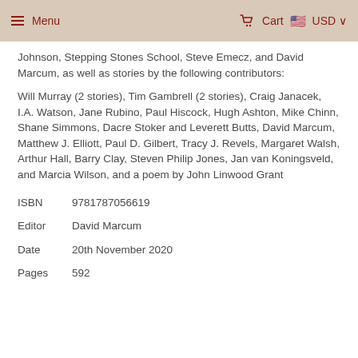Menu   Cart   USD
Johnson, Stepping Stones School, Steve Emecz, and David Marcum, as well as stories by the following contributors:
Will Murray (2 stories), Tim Gambrell (2 stories), Craig Janacek, I.A. Watson, Jane Rubino, Paul Hiscock, Hugh Ashton, Mike Chinn, Shane Simmons, Dacre Stoker and Leverett Butts, David Marcum, Matthew J. Elliott, Paul D. Gilbert, Tracy J. Revels, Margaret Walsh, Arthur Hall, Barry Clay, Steven Philip Jones, Jan van Koningsveld, and Marcia Wilson, and a poem by John Linwood Grant
ISBN   9781787056619
Editor   David Marcum
Date    20th November 2020
Pages  592